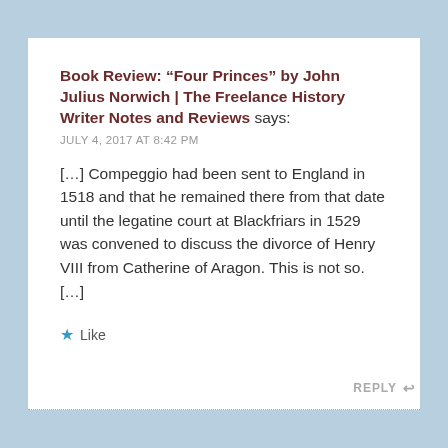Book Review: "Four Princes" by John Julius Norwich | The Freelance History Writer Notes and Reviews says:
JULY 4, 2017 AT 8:42 PM
[…] Compeggio had been sent to England in 1518 and that he remained there from that date until the legatine court at Blackfriars in 1529 was convened to discuss the divorce of Henry VIII from Catherine of Aragon. This is not so. […]